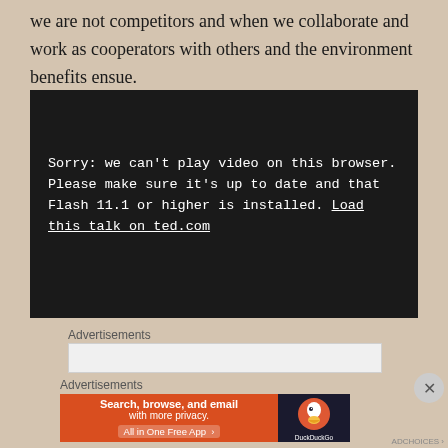we are not competitors and when we collaborate and work as cooperators with others and the environment benefits ensue.
[Figure (screenshot): Embedded video player showing error message on dark background: 'Sorry: we can't play video on this browser. Please make sure it's up to date and that Flash 11.1 or higher is installed. Load this talk on ted.com']
Advertisements
[Figure (screenshot): Advertisement placeholder box (light gray)]
Advertisements
[Figure (screenshot): DuckDuckGo advertisement banner: 'Search, browse, and email with more privacy. All in One Free App' with DuckDuckGo logo on dark right panel]